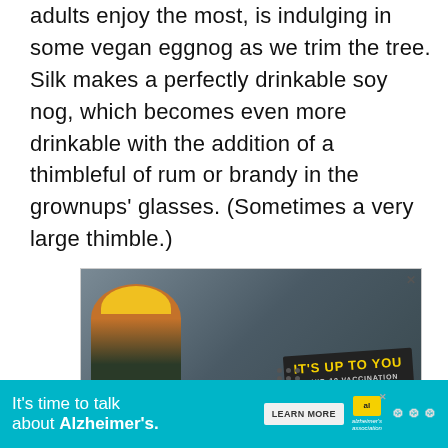adults enjoy the most, is indulging in some vegan eggnog as we trim the tree. Silk makes a perfectly drinkable soy nog, which becomes even more drinkable with the addition of a thimbleful of rum or brandy in the grownups' glasses. (Sometimes a very large thimble.)
[Figure (photo): Advertisement showing a bearded man wearing a yellow hard hat and safety glasses in an industrial setting, with text overlay reading 'IT'S UP TO YOU / COVID-19 VACCINATION' on a dark badge with yellow text, and a yellow bar at bottom reading 'Why should I get']
[Figure (photo): Alzheimer's Association advertisement banner in teal/cyan color reading 'It's time to talk about Alzheimer's.' with a LEARN MORE button and the Alzheimer's Association logo]